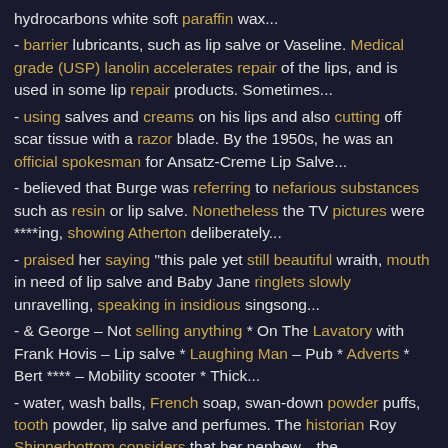hydrocarbons white soft paraffin wax...
- barrier lubricants, such as lip salve or Vaseline. Medical grade (USP) lanolin accelerates repair of the lips, and is used in some lip repair products. Sometimes...
- using salves and creams on his lips and also cutting off scar tissue with a razor blade. By the 1950s, he was an official spokesman for Ansatz-Creme Lip Salve...
- believed that Burge was referring to nefarious substances such as resin or lip salve. Nonetheless the TV pictures were ****ing, showing Atherton deliberately...
- praised her saying "this pale yet still beautiful wraith, mouth in need of lip salve and Baby Jane ringlets slowly unravelling, speaking in insidious singsong...
- & George – Not selling anything * On The Lavatory with Frank Hovis – Lip salve * Laughing Man – Pub * Adverts * Bert **** – Mobility scooter * Thick...
- water, wash balls, French soap, swan-down powder puffs, tooth powder, lip salve and perfumes. The historian Roy Shipperbottom considers that her nephew—the...
- fritters', but also 'a cure for dogs who are troubled with the